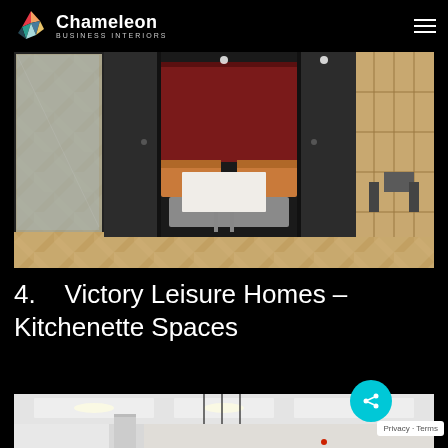Chameleon BUSINESS INTERIORS
[Figure (photo): Interior design photo showing a booth seating area with red upholstered back panel, orange seat cushions, white table, dark wood paneling and patterned wood floor tiles]
4.   Victory Leisure Homes – Kitchenette Spaces
[Figure (photo): Interior photo of a kitchenette/break room space with pendant lights hanging from ceiling, white walls and ceiling panels]